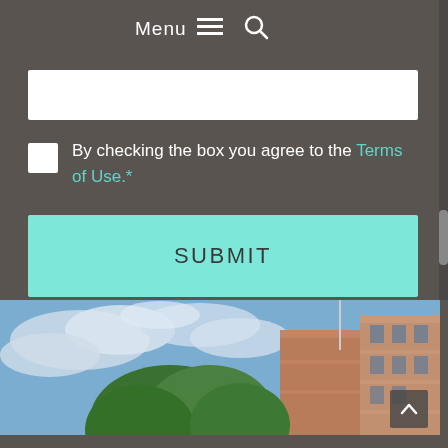Menu ☰ 🔍
(input field)
By checking the box you agree to the Terms of Use.*
SUBMIT
[Figure (photo): Exterior photo of a brick government or university building with a blue cloudy sky and green trees in the foreground.]